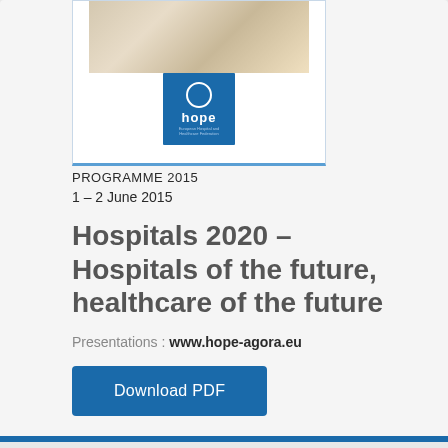[Figure (illustration): Document cover image showing stacked books photo at top and HOPE organization logo (blue square with 'hope' text) below, with blue border at bottom]
PROGRAMME 2015
1 – 2 June 2015
Hospitals 2020 – Hospitals of the future, healthcare of the future
Presentations : www.hope-agora.eu
Download PDF